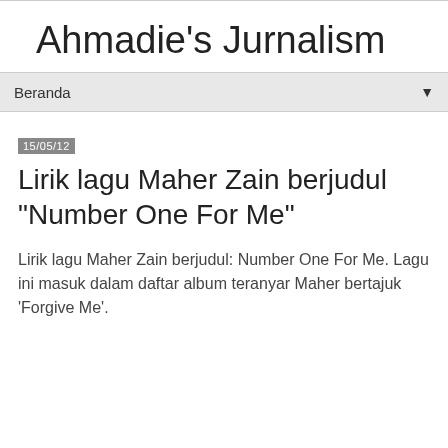Ahmadie's Jurnalism
Beranda ▼
15/05/12
Lirik lagu Maher Zain berjudul "Number One For Me"
Lirik lagu Maher Zain berjudul: Number One For Me. Lagu ini masuk dalam daftar album teranyar Maher bertajuk 'Forgive Me'.